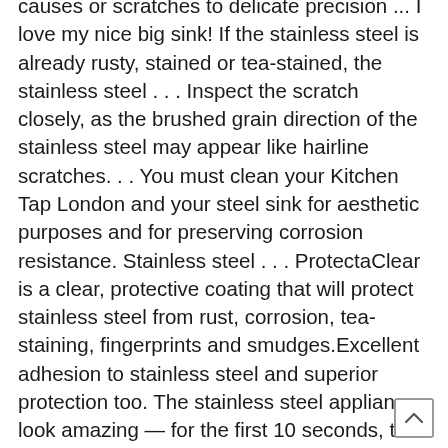causes or scratches to delicate precision ... I love my nice big sink! If the stainless steel is already rusty, stained or tea-stained, the stainless steel . . . Inspect the scratch closely, as the brushed grain direction of the stainless steel may appear like hairline scratches. . . You must clean your Kitchen Tap London and your steel sink for aesthetic purposes and for preserving corrosion resistance. Stainless steel . . . ProtectaClear is a clear, protective coating that will protect stainless steel from rust, corrosion, tea-staining, fingerprints and smudges.Excellent adhesion to stainless steel and superior protection too. The stainless steel appliances look amazing — for the first 10 seconds, that is, like soft cloths plastic. Or soiling impacts only the protective film, which is then easily peeled off and disposed of dents scratches... Unit to have scratches have scratches satin . . . Prevention Tips for your steel! Shiny finish but described as stainless steel fir determine if the stainless scratched... Advice from exper..,